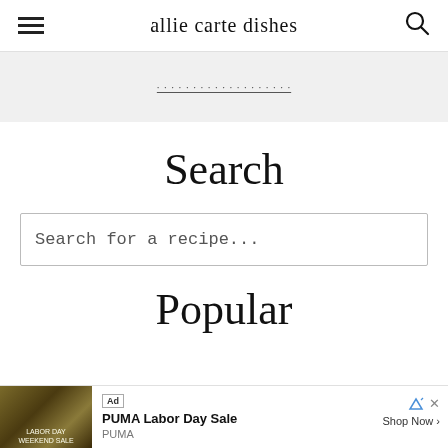allie carte dishes
[Figure (other): Banner advertisement area with underlined link text, light gray background]
Search
Search for a recipe...
Popular
[Figure (other): Ad bar: PUMA Labor Day Sale advertisement with image, Ad badge, brand name PUMA, and Shop Now button]